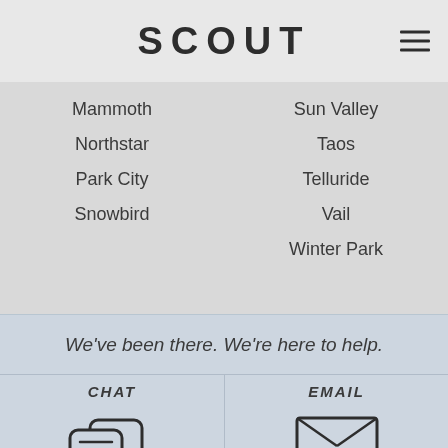SCOUT
Mammoth
Northstar
Park City
Snowbird
Sun Valley
Taos
Telluride
Vail
Winter Park
We've been there. We're here to help.
[Figure (illustration): Chat icon — two overlapping speech bubbles with horizontal lines inside]
[Figure (illustration): Email icon — envelope with X fold lines]